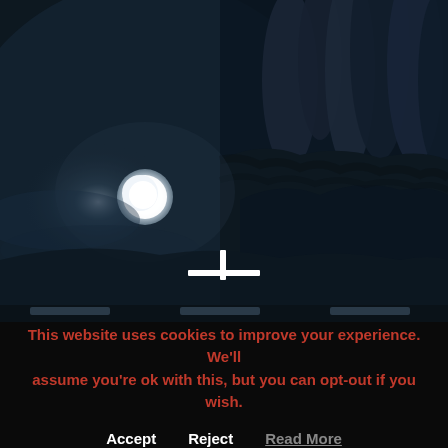[Figure (illustration): Dark moody digital artwork showing a dimly lit rocky or cave-like scene with large textured hand or creature shapes in deep blue-grey tones on the right side, and a glowing white orb (moon or light source) on the left side against a murky blue background. A white T-shaped or cross-hairs icon is visible near the bottom center.]
This website uses cookies to improve your experience. We'll assume you're ok with this, but you can opt-out if you wish.
Accept   Reject   Read More